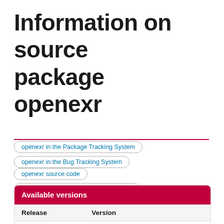Information on source package openexr
openexr in the Package Tracking System
openexr in the Bug Tracking System
openexr source code
openexr in the testing migration checker
| Release | Version |
| --- | --- |
| buster | 2.2.1-4.1+deb10u1 |